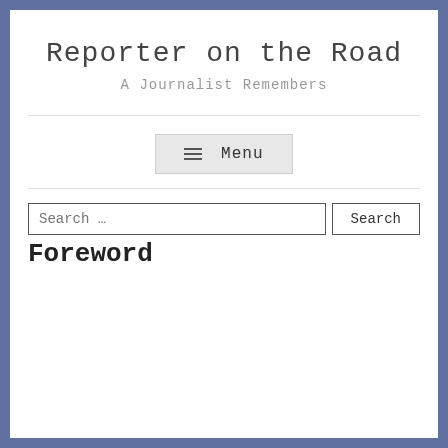Reporter on the Road
A Journalist Remembers
≡ Menu
Search ...
Foreword